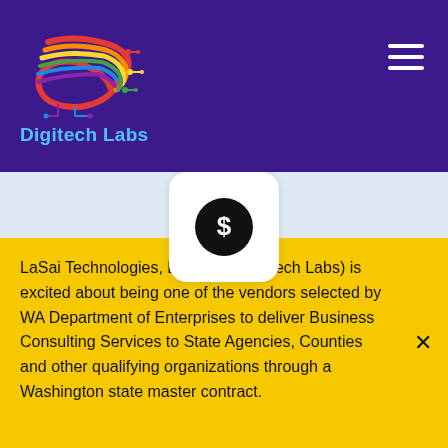[Figure (logo): Digitech Labs logo: colorful circuit-board brain illustration with rainbow stripes and circuit lines, above the text 'Digitech Labs' in cyan on a purple background]
[Figure (illustration): Hamburger menu icon (three horizontal lines) in white on purple background, top right]
[Figure (illustration): White rounded card with black circle dollar sign icon in center, on light blue background]
Expertise
We then present to our customers a multitude
LaSai Technologies, LLC (DBA Digitech Labs) is excited about being one of the vendors selected by WA Department of Enterprises to deliver Business Consulting Services to State Agencies, Counties and other qualifying organizations through a Washington state master contract.